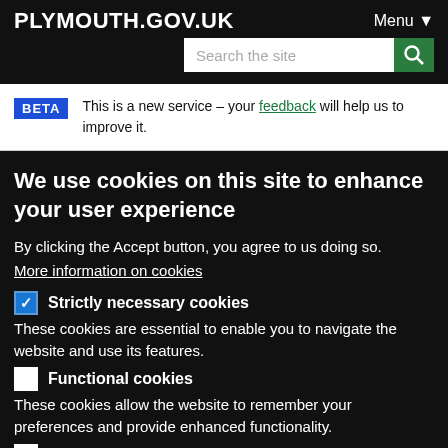PLYMOUTH.GOV.UK
This is a new service – your feedback will help us to improve it.
We use cookies on this site to enhance your user experience
By clicking the Accept button, you agree to us doing so.
More information on cookies
☑ Strictly necessary cookies
These cookies are essential to enable you to navigate the website and use its features.
☐ Functional cookies
These cookies allow the website to remember your preferences and provide enhanced functionality.
☐ Performance cookies
These cookies help us to improve our website by collecting and reporting information on its usage. They collect information in a way that does not directly identify anyone.